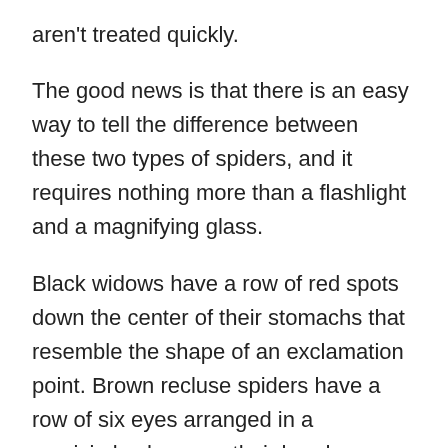aren't treated quickly.
The good news is that there is an easy way to tell the difference between these two types of spiders, and it requires nothing more than a flashlight and a magnifying glass.
Black widows have a row of red spots down the center of their stomachs that resemble the shape of an exclamation point. Brown recluse spiders have a row of six eyes arranged in a semicircle shape on their heads.
If you’re still unsure of what spider you’ve encountered, you can always consult a wildlife expert. Many cities and towns have nature centers that can help identify various animals, including spiders.